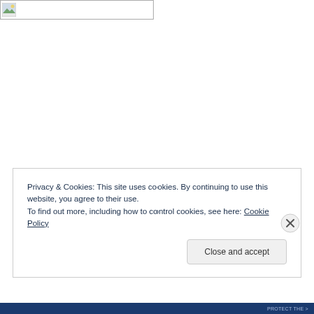[Figure (photo): Small image thumbnail placeholder icon in top-left corner with a broken/loading image icon]
Privacy & Cookies: This site uses cookies. By continuing to use this website, you agree to their use.
To find out more, including how to control cookies, see here: Cookie Policy
Close and accept